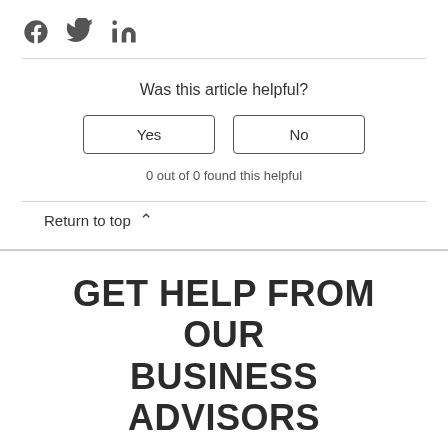[Figure (logo): Social media icons: Facebook, Twitter, LinkedIn]
Was this article helpful?
Yes | No (buttons)
0 out of 0 found this helpful
Return to top ∧
GET HELP FROM OUR BUSINESS ADVISORS